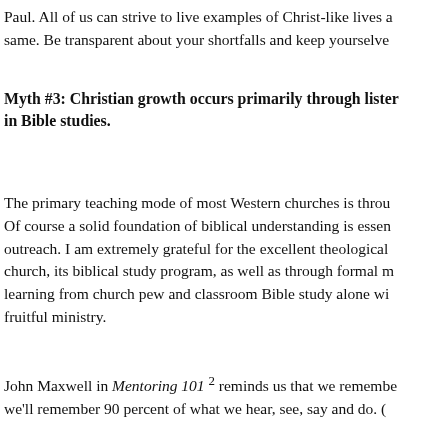Paul. All of us can strive to live examples of Christ-like lives a same. Be transparent about your shortfalls and keep yourselve
Myth #3: Christian growth occurs primarily through lister in Bible studies.
The primary teaching mode of most Western churches is throu Of course a solid foundation of biblical understanding is essen outreach. I am extremely grateful for the excellent theological church, its biblical study program, as well as through formal m learning from church pew and classroom Bible study alone wi fruitful ministry.
John Maxwell in Mentoring 101 2 reminds us that we remembe we'll remember 90 percent of what we hear, see, say and do. (